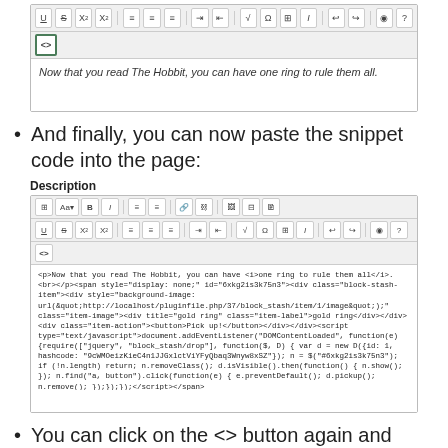[Figure (screenshot): Rich text editor toolbar with formatting buttons (U, S, subscript, superscript, alignment, indent, math, omega, table, italic) and a second row with a highlighted <> (source code) button. Below is editor content showing italic text: 'Now that you read The Hobbit, you can have one ring to rule them all.']
And finally, you can now paste the snippet code into the page:
Description
[Figure (screenshot): Rich text editor with two toolbar rows (formatting buttons including U, S, subscript, superscript, B, I, lists, links, images, alignment, math, omega, table, undo/redo, source) and a <> button row. The editor content area shows raw HTML snippet code including block-stash-item div, script with DOMContentLoaded event listener, and related JavaScript code.]
You can click on the <> button again and save your page with the embedded item.